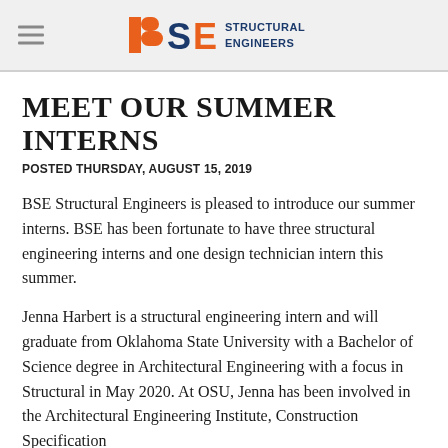BSE STRUCTURAL ENGINEERS
MEET OUR SUMMER INTERNS
POSTED THURSDAY, AUGUST 15, 2019
BSE Structural Engineers is pleased to introduce our summer interns.  BSE has been fortunate to have three structural engineering interns and one design technician intern this summer.
Jenna Harbert is a structural engineering intern and will graduate from Oklahoma State University with a Bachelor of Science degree in Architectural Engineering with a focus in Structural in May 2020.  At OSU, Jenna has been involved in the Architectural Engineering Institute, Construction Specification